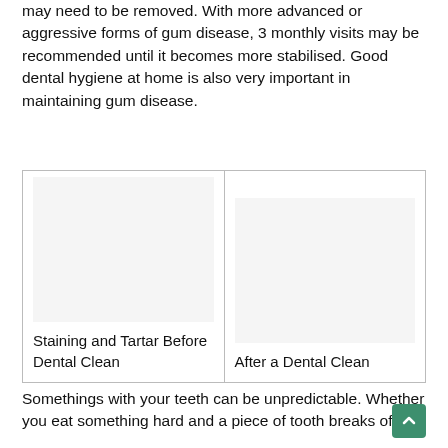may need to be removed. With more advanced or aggressive forms of gum disease, 3 monthly visits may be recommended until it becomes more stabilised. Good dental hygiene at home is also very important in maintaining gum disease.
| Staining and Tartar Before Dental Clean | After a Dental Clean |
Somethings with your teeth can be unpredictable. Whether you eat something hard and a piece of tooth breaks of a